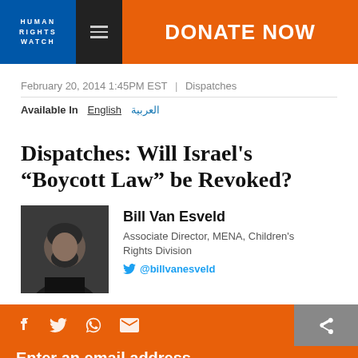HUMAN RIGHTS WATCH | DONATE NOW
February 20, 2014 1:45PM EST | Dispatches
Available In  English  العربية
Dispatches: Will Israel's “Boycott Law” be Revoked?
Bill Van Esveld
Associate Director, MENA, Children's Rights Division
@billvanesveld
[Figure (photo): Headshot photo of Bill Van Esveld]
Enter an email address
On Sunday, nine Israeli Supreme Court justices heard a